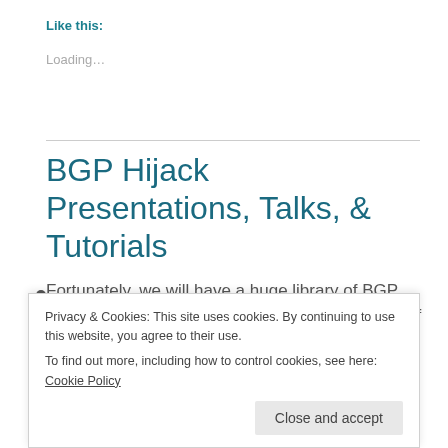Like this:
Loading...
BGP Hijack Presentations, Talks, & Tutorials
Fortunately, we will have a huge library of BGP Hijacking presentations, talks, & tutorials. Many of
Privacy & Cookies: This site uses cookies. By continuing to use this website, you agree to their use. To find out more, including how to control cookies, see here: Cookie Policy
Close and accept